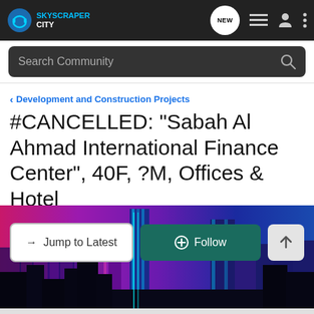[Figure (illustration): SkyscraperCity website screenshot banner showing a stylized neon-lit futuristic cityscape at night with pink, purple, and blue glowing skyscrapers against a pink-purple sky.]
[Figure (logo): SkyscraperCity logo: circular headphones icon in blue/teal with 'SKYSCRAPER CITY' text in white and blue]
Search Community
< Development and Construction Projects
#CANCELLED: "Sabah Al Ahmad International Finance Center", 40F, ?M, Offices & Hotel
→ Jump to Latest
+ Follow